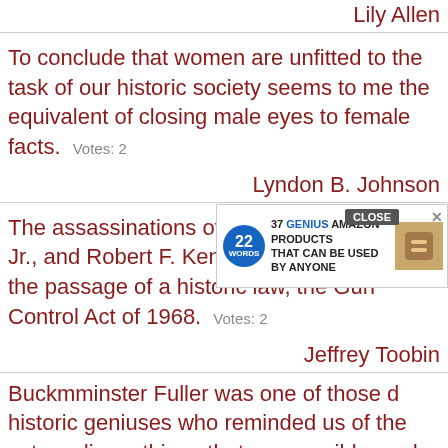Lily Allen
To conclude that women are unfitted to the task of our historic society seems to me the equivalent of closing male eyes to female facts.  Votes: 2
Lyndon B. Johnson
The assassinations of Martin Luther King, Jr., and Robert F. Kennedy led directly to the passage of a historic law, the Gun Control Act of 1968.  Votes: 2
Jeffrey Toobin
Buckminster Fuller was one of those historic geniuses who reminded us of the extraordinary things that are possible, and how beautifully constructed the universe...
[Figure (screenshot): Advertisement overlay: '37 GENIUS AMAZON PRODUCTS THAT CAN BE USED BY ANYONE' with a CLOSE button and X button]